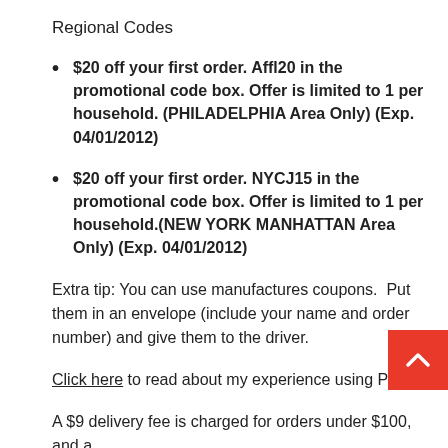Regional Codes
$20 off your first order. Affl20 in the promotional code box. Offer is limited to 1 per household. (PHILADELPHIA Area Only) (Exp. 04/01/2012)
$20 off your first order. NYCJ15 in the promotional code box. Offer is limited to 1 per household.(NEW YORK MANHATTAN Area Only) (Exp. 04/01/2012)
Extra tip: You can use manufactures coupons.  Put them in an envelope (include your name and order number) and give them to the driver.
Click here to read about my experience using Peap
A $9 delivery fee is charged for orders under $100, and a $6 fee is charged for orders over $100. We they, as noted for
[Figure (other): Red back-to-top button with white upward chevron arrow]